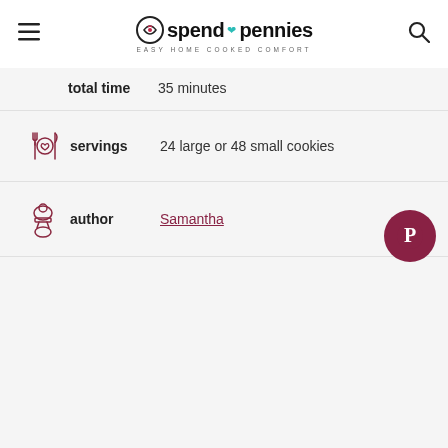spend with pennies — easy home cooked comfort
total time   35 minutes
servings   24 large or 48 small cookies
author   Samantha